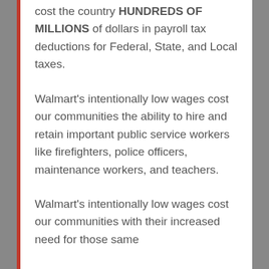cost the country HUNDREDS OF MILLIONS of dollars in payroll tax deductions for Federal, State, and Local taxes.
Walmart's intentionally low wages cost our communities the ability to hire and retain important public service workers like firefighters, police officers, maintenance workers, and teachers.
Walmart's intentionally low wages cost our communities with their increased need for those same